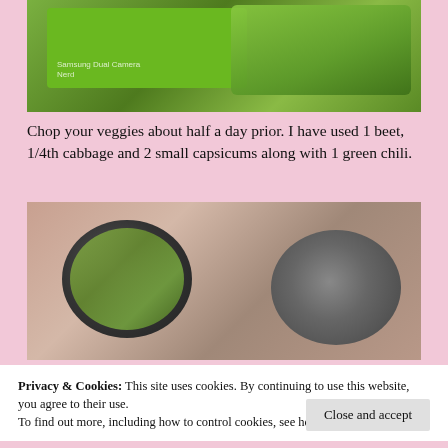[Figure (photo): Top-down photo of chopped green vegetables on a green cutting board with floral patterned background]
Chop your veggies about half a day prior. I have used 1 beet, 1/4th cabbage and 2 small capsicums along with 1 green chili.
[Figure (photo): Top-down photo of two metal bowls on a floral patterned tablecloth. Left bowl contains chopped vegetables with salt/sugar sprinkled on top. Right bowl is empty.]
Privacy & Cookies: This site uses cookies. By continuing to use this website, you agree to their use.
To find out more, including how to control cookies, see here: Cookie Policy
Close and accept